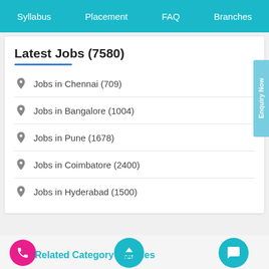Syllabus  Placement  FAQ  Branches
Latest Jobs (7580)
Jobs in Chennai (709)
Jobs in Bangalore (1004)
Jobs in Pune (1678)
Jobs in Coimbatore (2400)
Jobs in Hyderabad (1500)
Related Category Courses